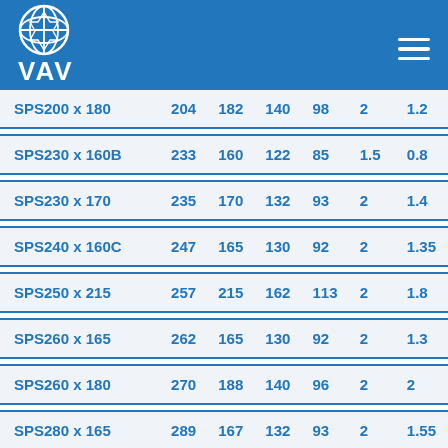VAV
| Model | Col1 | Col2 | Col3 | Col4 | Col5 | Col6 |
| --- | --- | --- | --- | --- | --- | --- |
| SPS200 x 180 | 204 | 182 | 140 | 98 | 2 | 1.2 |
| SPS230 x 160B | 233 | 160 | 122 | 85 | 1.5 | 0.8 |
| SPS230 x 170 | 235 | 170 | 132 | 93 | 2 | 1.4 |
| SPS240 x 160C | 247 | 165 | 130 | 92 | 2 | 1.35 |
| SPS250 x 215 | 257 | 215 | 162 | 113 | 2 | 1.8 |
| SPS260 x 165 | 262 | 165 | 130 | 92 | 2 | 1.3 |
| SPS260 x 180 | 270 | 188 | 140 | 96 | 2 | 2 |
| SPS280 x 165 | 289 | 167 | 132 | 93 | 2 | 1.55 |